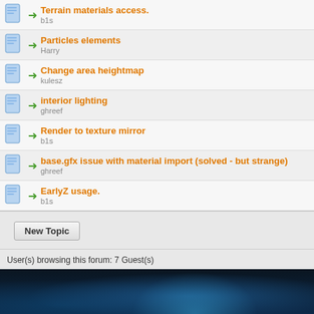Terrain materials access. — b1s
Particles elements — Harry
Change area heightmap — kulesz
interior lighting — ghreef
Render to texture mirror — b1s
base.gfx issue with material import (solved - but strange) — ghreef
EarlyZ usage. — b1s
User(s) browsing this forum: 7 Guest(s)
New Posts
Hot Thread (New)
Hot Thread (No New)
No New Posts
Locked Thread